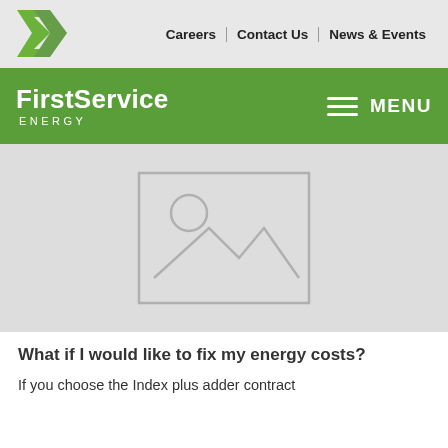Careers | Contact Us | News & Events
FirstService ENERGY
[Figure (illustration): Image placeholder with mountain/landscape icon on light gray background]
What if I would like to fix my energy costs?
If you choose the Index plus adder contract